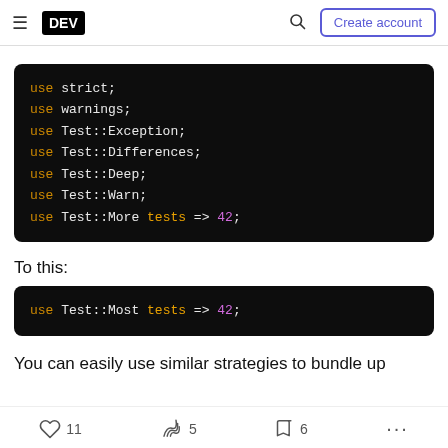DEV | Create account
[Figure (screenshot): Code block showing: use strict; use warnings; use Test::Exception; use Test::Differences; use Test::Deep; use Test::Warn; use Test::More tests => 42;]
To this:
[Figure (screenshot): Code block showing: use Test::Most tests => 42;]
You can easily use similar strategies to bundle up
11 reactions, 5 unicorns, 6 bookmarks